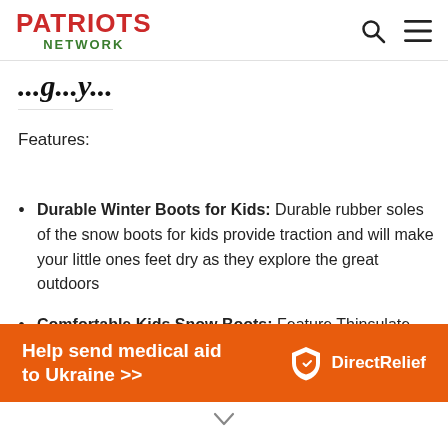PATRIOTS NETWORK
...g...y...
Features:
Durable Winter Boots for Kids: Durable rubber soles of the snow boots for kids provide traction and will make your little ones feet dry as they explore the great outdoors
Comfortable Kids Snow Boots: Feature Thinsulate lining and a water-resistant upper that provide comfort inside
[Figure (infographic): Orange advertisement banner: 'Help send medical aid to Ukraine >>' with Direct Relief logo on the right]